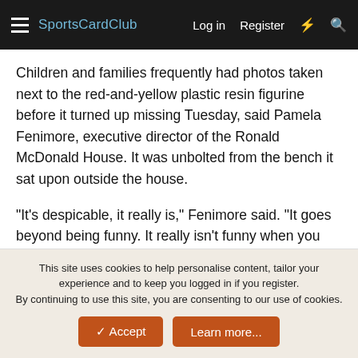SportsCardClub  Log in  Register
Children and families frequently had photos taken next to the red-and-yellow plastic resin figurine before it turned up missing Tuesday, said Pamela Fenimore, executive director of the Ronald McDonald House. It was unbolted from the bench it sat upon outside the house.
"It's despicable, it really is," Fenimore said. "It goes beyond being funny. It really isn't funny when you consider the kids and the families that get enjoyment out of it."
The nine-bedroom house is one of 270 in 30 countries that provides a "home away from home" for sick children and their families traveling for treatment, according to the organization's Web site.
This site uses cookies to help personalise content, tailor your experience and to keep you logged in if you register.
By continuing to use this site, you are consenting to our use of cookies.